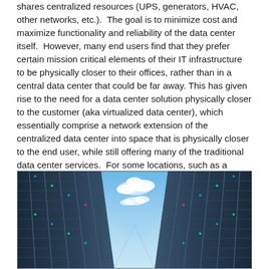shares centralized resources (UPS, generators, HVAC, other networks, etc.).  The goal is to minimize cost and maximize functionality and reliability of the data center itself.  However, many end users find that they prefer certain mission critical elements of their IT infrastructure to be physically closer to their offices, rather than in a central data center that could be far away. This has given rise to the need for a data center solution physically closer to the customer (aka virtualized data center), which essentially comprise a network extension of the centralized data center into space that is physically closer to the end user, while still offering many of the traditional data center services.  For some locations, such as a remote business park, building a full service, but smaller scale data center may be justified; for others a virtual data center is the next best option.
[Figure (photo): Photo of a data center hallway showing rows of tall server racks on both sides, with a dramatic perspective view looking toward a bright blue sky with white clouds visible at the end of the corridor between the server racks.]